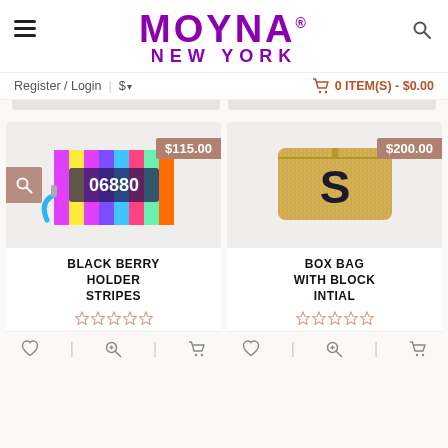[Figure (logo): Moyna New York brand logo in purple with hamburger menu icon and search icon]
Register / Login  |  $▾    🛒 0 ITEM(S) - $0.00
[Figure (photo): Black Berry Holder Stripes bag showing colorful stripes with number 06880, priced at $115.00]
[Figure (photo): Box Bag With Block Initial showing gold glitter bag with letter S, priced at $200.00]
BLACK BERRY HOLDER STRIPES
BOX BAG WITH BLOCK INTIAL
★ ★ ★ ★ ★ (empty stars rating)
★ ★ ★ ★ ★ (empty stars rating)